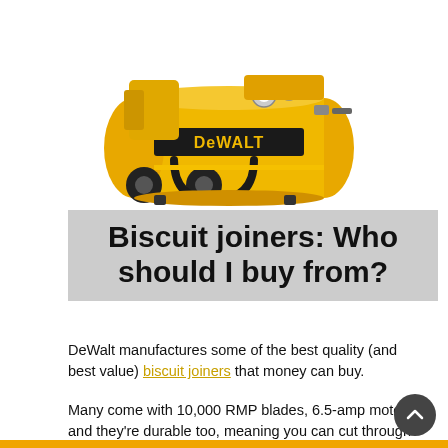[Figure (photo): DeWalt yellow air compressor with black wheels and handle, viewed from above at an angle, on white background]
Biscuit joiners: Who should I buy from?
DeWalt manufactures some of the best quality (and best value) biscuit joiners that money can buy.
Many come with 10,000 RMP blades, 6.5-amp motors and they're durable too, meaning you can cut through even the